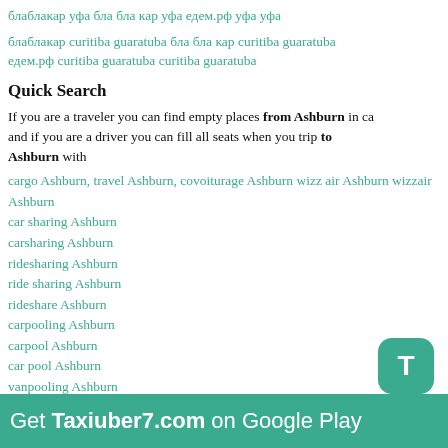блаблакар уфа бла бла кар уфа едем.рф уфа уфа
блаблакар curitiba guaratuba бла бла кар curitiba guaratuba едем.рф curitiba guaratuba curitiba guaratuba
Quick Search
If you are a traveler you can find empty places from Ashburn in ca and if you are a driver you can fill all seats when you trip to Ashburn with
cargo Ashburn, travel Ashburn, covoiturage Ashburn wizz air Ashburn wizzair Ashburn
car sharing Ashburn
carsharing Ashburn
ridesharing Ashburn
ride sharing Ashburn
rideshare Ashburn
carpooling Ashburn
carpool Ashburn
car pool Ashburn
vanpooling Ashburn
autostop Ashburn
auto stop Ashburn
avtostop Ashburn
Get Taxiuber7.com on Google Play